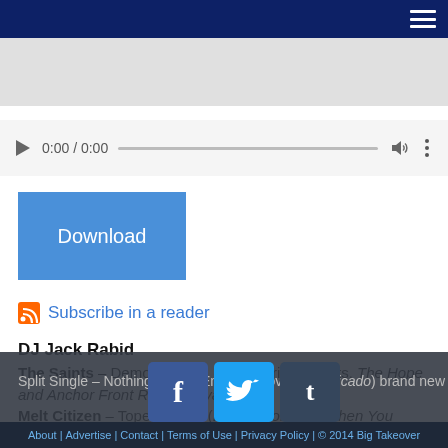≡
[Figure (screenshot): Audio player UI with play button, time 0:00 / 0:00, progress bar, volume and more icons]
Download
Subscribe in a reader
DJ Jack Rabid
The Saints – Demolition Girl (live) (Various artists, The Hope and Anchor Front Row Festival) 1977
Melt Citizen – Tope Suicida (Life's a Joke and Then You Croak)
Split Single – Nothing Can to End This Love (Amplificado) brand new
About | Advertise | Contact | Terms of Use | Privacy Policy | © 2014 Big Takeover